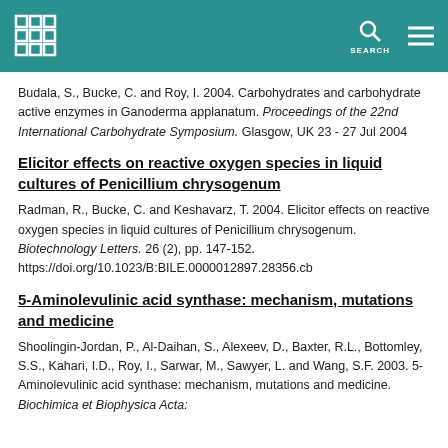Budala, S., Bucke, C. and Roy, I. 2004. Carbohydrates and carbohydrate active enzymes in Ganoderma applanatum. Proceedings of the 22nd International Carbohydrate Symposium. Glasgow, UK 23 - 27 Jul 2004
Elicitor effects on reactive oxygen species in liquid cultures of Penicillium chrysogenum
Radman, R., Bucke, C. and Keshavarz, T. 2004. Elicitor effects on reactive oxygen species in liquid cultures of Penicillium chrysogenum. Biotechnology Letters. 26 (2), pp. 147-152. https://doi.org/10.1023/B:BILE.0000012897.28356.cb
5-Aminolevulinic acid synthase: mechanism, mutations and medicine
Shoolingin-Jordan, P., Al-Daihan, S., Alexeev, D., Baxter, R.L., Bottomley, S.S., Kahari, I.D., Roy, I., Sarwar, M., Sawyer, L. and Wang, S.F. 2003. 5-Aminolevulinic acid synthase: mechanism, mutations and medicine. Biochimica et Biophysica Acta: